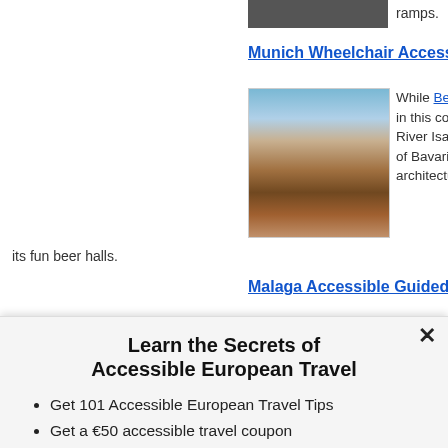ramps.
[Figure (photo): Partial photo at top of page, cropped]
Munich Wheelchair Accessible Tours
[Figure (photo): Aerial view of Munich city center with red rooftops and historic buildings]
While Berlin is the [most accessible city] in this country – v[isitors can explore the] River Isar north o[f the Alps in the heart] of Bavaria. The ci[ty is known for its] architecture, and its fun beer halls.
Malaga Accessible Guided Tours
[Figure (photo): View of Malaga with cathedral tower and cityscape]
Located on Spain['s Costa del Sol, it welcomes many] visitors, including [those with disabilities. Known] for its high-rise ho[tel complexes, it has much to] offer. The old age[d city center has many] highlights includin[g...]
Learn the Secrets of Accessible European Travel
Get 101 Accessible European Travel Tips
Get a €50 accessible travel coupon